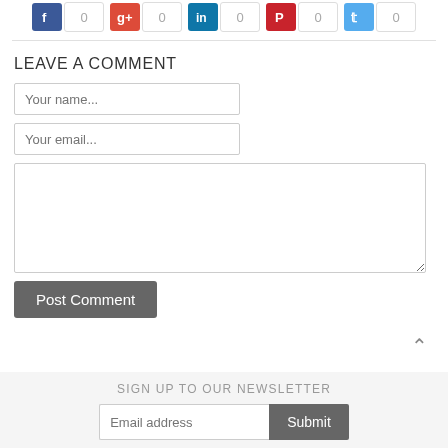[Figure (infographic): Social share buttons row: Facebook (0), Google+ (0), LinkedIn (0), Pinterest (0), Twitter (0)]
LEAVE A COMMENT
Your name...
Your email...
(comment textarea)
Post Comment
SIGN UP TO OUR NEWSLETTER
Email address
Submit